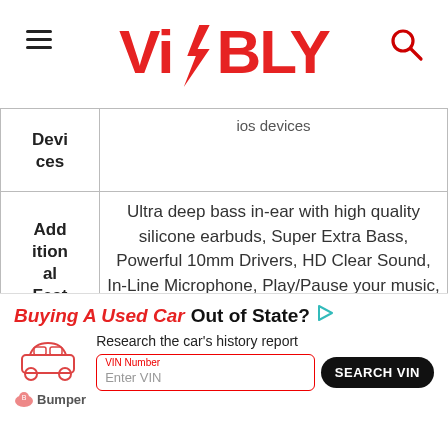ViEBLY
| Category | Value |
| --- | --- |
| Devices | ios devices |
| Additional Features | Ultra deep bass in-ear with high quality silicone earbuds, Super Extra Bass, Powerful 10mm Drivers, HD Clear Sound, In-Line Microphone, Play/Pause your music, Change your tracks and Ans/end your calls, Passive |
[Figure (other): Advertisement banner for Bumper: 'Buying A Used Car Out of State? Research the car's history report' with VIN Number input and SEARCH VIN button]